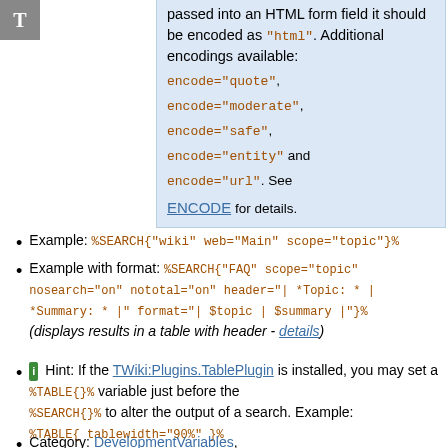| passed into an HTML form field it should be encoded as "html". Additional encodings available: encode="quote", encode="moderate", encode="safe", encode="entity" and encode="url". See ENCODE for details. |
Example: %SEARCH{"wiki" web="Main" scope="topic"}%
Example with format: %SEARCH{"FAQ" scope="topic" nosearch="on" nototal="on" header="| *Topic: * | *Summary: * |" format="| $topic | $summary |"}% (displays results in a table with header - details)
Hint: If the TWiki:Plugins.TablePlugin is installed, you may set a %TABLE{}% variable just before the %SEARCH{}% to alter the output of a search. Example: %TABLE{ tablewidth="90%" }%
Category: DevelopmentVariables, DatabaseAndFormsVariables,